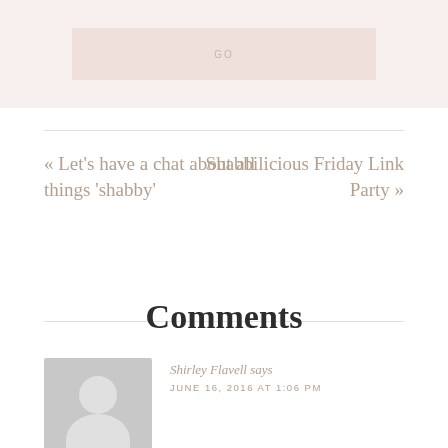[Figure (other): A pink/rose-tinted button labeled GO on a light pink background]
« Let's have a chat about all things 'shabby'
Shabbilicious Friday Link Party »
Comments
Shirley Flavell says
JUNE 16, 2016 AT 1:06 PM